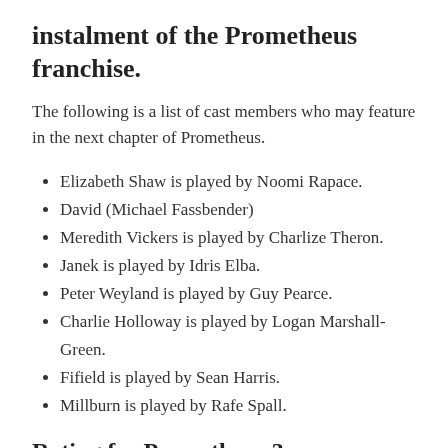instalment of the Prometheus franchise.
The following is a list of cast members who may feature in the next chapter of Prometheus.
Elizabeth Shaw is played by Noomi Rapace.
David (Michael Fassbender)
Meredith Vickers is played by Charlize Theron.
Janek is played by Idris Elba.
Peter Weyland is played by Guy Pearce.
Charlie Holloway is played by Logan Marshall-Green.
Fifield is played by Sean Harris.
Millburn is played by Rafe Spall.
Rating for Prometheus 3
Prometheus received a mixed response from critics across the